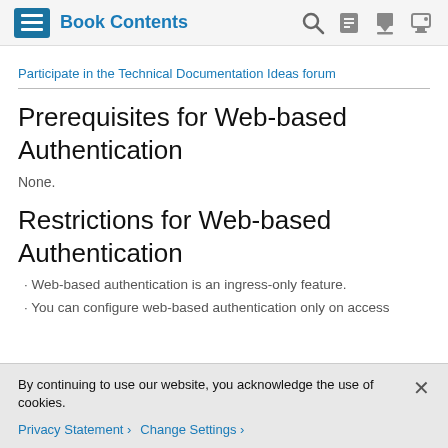Book Contents
Participate in the Technical Documentation Ideas forum
Prerequisites for Web-based Authentication
None.
Restrictions for Web-based Authentication
Web-based authentication is an ingress-only feature.
You can configure web-based authentication only on access
By continuing to use our website, you acknowledge the use of cookies.
Privacy Statement > Change Settings >